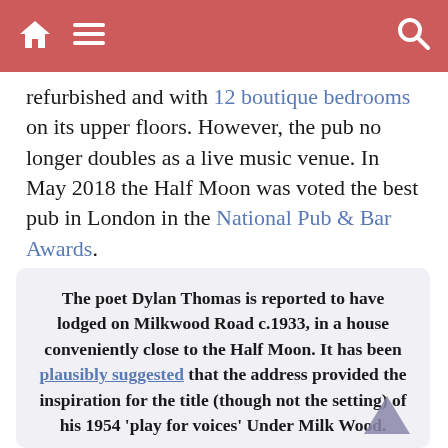Navigation bar with home, menu, and search icons
refurbished and with 12 boutique bedrooms on its upper floors. However, the pub no longer doubles as a live music venue. In May 2018 the Half Moon was voted the best pub in London in the National Pub & Bar Awards.
The majority of residents in Lambeth's Herne Hill ward live in rented accommodation and the proportion of unmarried adults is almost twice the national average.
The poet Dylan Thomas is reported to have lodged on Milkwood Road c.1933, in a house conveniently close to the Half Moon. It has been plausibly suggested that the address provided the inspiration for the title (though not the setting) of his 1954 'play for voices' Under Milk Wood.